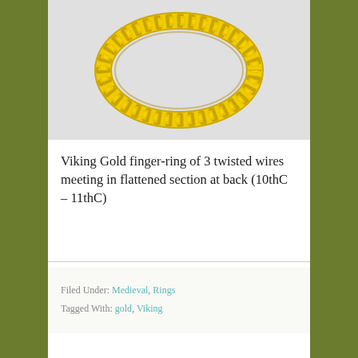[Figure (photo): A Viking gold finger-ring made of 3 twisted wires, photographed against a light grey background. The ring is oval/circular shaped with a twisted rope-like texture in shiny gold, meeting in a flattened section at the back.]
Viking Gold finger-ring of 3 twisted wires meeting in flattened section at back (10thC – 11thC)
Filed Under: Medieval, Rings
Tagged With: gold, Viking